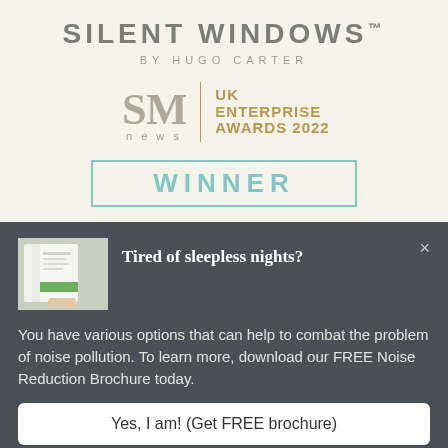SILENT WINDOWS™
BY HUGO CARTER
[Figure (logo): SM News UK Enterprise Awards 2022 logo with gold text]
WINNER
Tired of sleepless nights?
You have various options that can help to combat the problem of noise pollution. To learn more, download our FREE Noise Reduction Brochure today.
Yes, I am! (Get FREE brochure)